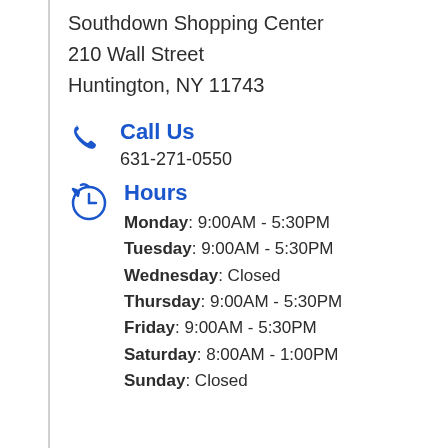Southdown Shopping Center
210 Wall Street
Huntington, NY 11743
Call Us
631-271-0550
Hours
Monday: 9:00AM - 5:30PM
Tuesday: 9:00AM - 5:30PM
Wednesday: Closed
Thursday: 9:00AM - 5:30PM
Friday: 9:00AM - 5:30PM
Saturday: 8:00AM - 1:00PM
Sunday: Closed